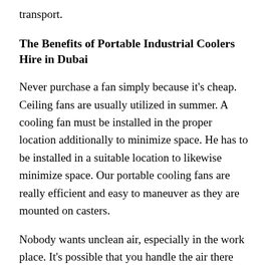transport.
The Benefits of Portable Industrial Coolers Hire in Dubai
Never purchase a fan simply because it's cheap. Ceiling fans are usually utilized in summer. A cooling fan must be installed in the proper location additionally to minimize space. He has to be installed in a suitable location to likewise minimize space. Our portable cooling fans are really efficient and easy to maneuver as they are mounted on casters.
Nobody wants unclean air, especially in the work place. It's possible that you handle the air there also. Possessing a portable air cooler that is suitable for your need in your house and work environment will improve your productivity too and cause you to feel good.